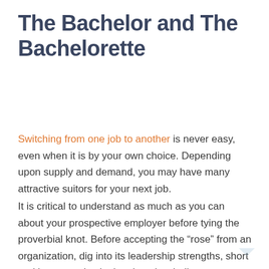The Bachelor and The Bachelorette
Switching from one job to another is never easy, even when it is by your own choice. Depending upon supply and demand, you may have many attractive suitors for your next job.
It is critical to understand as much as you can about your prospective employer before tying the proverbial knot. Before accepting the “rose” from an organization, dig into its leadership strengths, short and long-term institutional goals, challenges